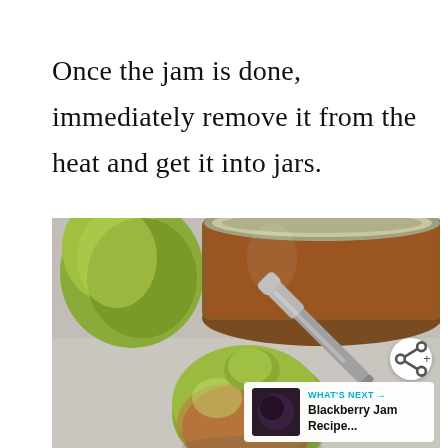Once the jam is done, immediately remove it from the heat and get it into jars.
[Figure (photo): Close-up photo of a green pear in foreground, a jar of amber-colored jam and another pear in the background, with a silver butter knife/spreader on a light marble surface. An overlay in the bottom-right shows a 'WHAT'S NEXT' card for 'Blackberry Jam Recipe...' with a share button above it.]